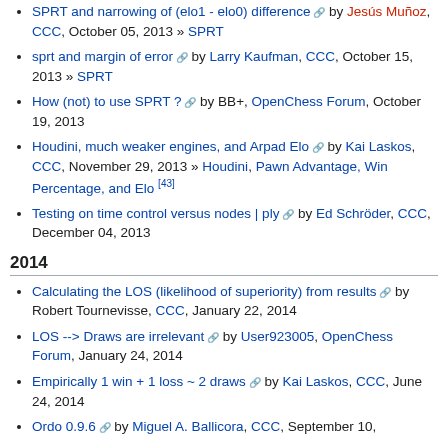SPRT and narrowing of (elo1 - elo0) difference by Jesús Muñoz, CCC, October 05, 2013 » SPRT
sprt and margin of error by Larry Kaufman, CCC, October 15, 2013 » SPRT
How (not) to use SPRT ? by BB+, OpenChess Forum, October 19, 2013
Houdini, much weaker engines, and Arpad Elo by Kai Laskos, CCC, November 29, 2013 » Houdini, Pawn Advantage, Win Percentage, and Elo [43]
Testing on time control versus nodes | ply by Ed Schröder, CCC, December 04, 2013
2014
Calculating the LOS (likelihood of superiority) from results by Robert Tournevisse, CCC, January 22, 2014
LOS --> Draws are irrelevant by User923005, OpenChess Forum, January 24, 2014
Empirically 1 win + 1 loss ~ 2 draws by Kai Laskos, CCC, June 24, 2014
Ordo 0.9.6 by Miguel A. Ballicora, CCC, September 10, ...